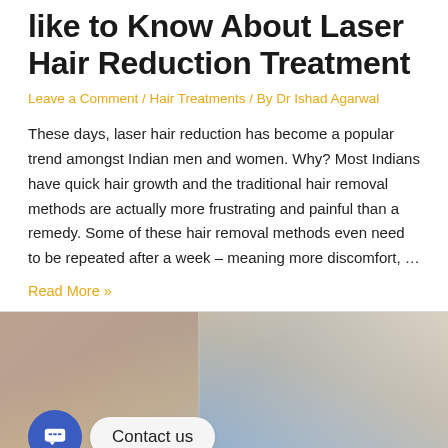like to Know About Laser Hair Reduction Treatment
Leave a Comment / Hair Treatments / By Dr Ishad Agarwal
These days, laser hair reduction has become a popular trend amongst Indian men and women. Why? Most Indians have quick hair growth and the traditional hair removal methods are actually more frustrating and painful than a remedy. Some of these hair removal methods even need to be repeated after a week – meaning more discomfort, …
Read More »
[Figure (photo): Photo of laser hair treatment procedure with a chat widget overlay showing 'Contact us']